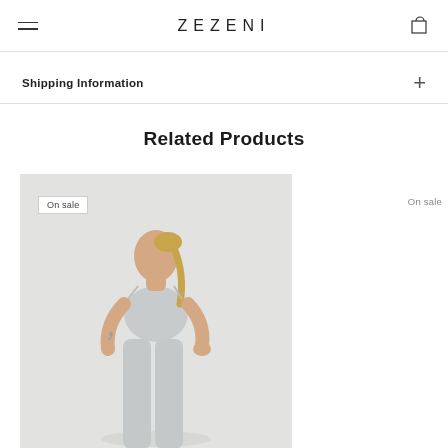ZEZENI
Shipping Information
Related Products
[Figure (photo): A woman wearing a light gray sports bra and matching high-waisted leggings, with a ponytail braid hairstyle. She has a tattoo on her left arm and is posing with one hand on her hip against a neutral background. An 'On sale' badge is visible in the top left of the image.]
On sale